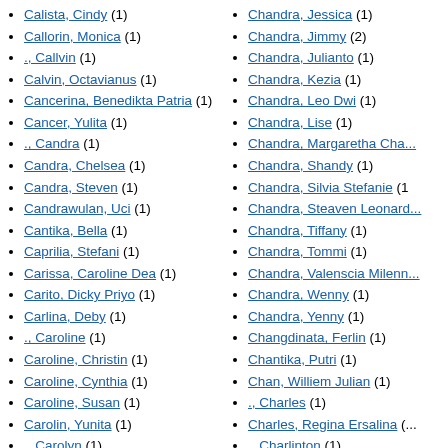Calista, Cindy (1)
Callorin, Monica (1)
., Callvin (1)
Calvin, Octavianus (1)
Cancerina, Benedikta Patria (1)
Cancer, Yulita (1)
., Candra (1)
Candra, Chelsea (1)
Candra, Steven (1)
Candrawulan, Uci (1)
Cantika, Bella (1)
Caprilia, Stefani (1)
Carissa, Caroline Dea (1)
Carito, Dicky Priyo (1)
Carlina, Deby (1)
., Caroline (1)
Caroline, Christin (1)
Caroline, Cynthia (1)
Caroline, Susan (1)
Carolin, Yunita (1)
., Carolyn (1)
Castillo, Neville (1)
Cathrine, Monica (1)
Catriani, Ni Wayan (1)
Catrina, Yessi (1)
., Catrine (1)
Celesta, Ivana (3)
Celsiani, Elisabet Yindia (1)
Cendana, Maya (1)
Cendrawasih, Stella Minerva (1)
Chandra, Jessica (1)
Chandra, Jimmy (2)
Chandra, Julianto (1)
Chandra, Kezia (1)
Chandra, Leo Dwi (1)
Chandra, Lise (1)
Chandra, Margaretha Char...
Chandra, Shandy (1)
Chandra, Silvia Stefanie (1)
Chandra, Steaven Leonard...
Chandra, Tiffany (1)
Chandra, Tommi (1)
Chandra, Valenscia Milenn...
Chandra, Wenny (1)
Chandra, Yenny (1)
Changdinata, Ferlin (1)
Chantika, Putri (1)
Chan, Williem Julian (1)
., Charles (1)
Charles, Regina Ersalina (...)
., Charlinton (1)
Chaselda, Kathrin (1)
Chatra, Vincentius (1)
Chayang, Adinda (1)
Chen, Delphine (1)
Chendry, Valentino Savero
Chen, Mei (1)
Chen, Ming (5)
Chen, Silvia (1)
., Chintia (2)